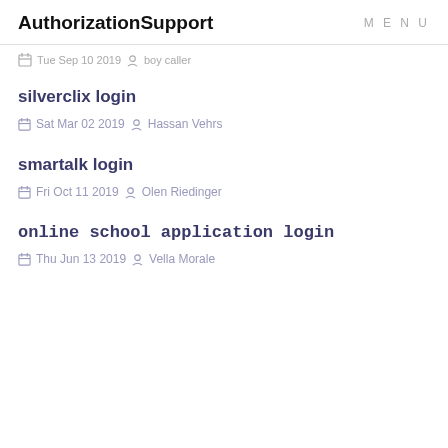AuthorizationSupport  MENU
Tue Sep 10 2019  boy caller
silverclix login
Sat Mar 02 2019  Hassan Vehrs
smartalk login
Fri Oct 11 2019  Olen Riedinger
online school application login
Thu Jun 13 2019  Vella Morale